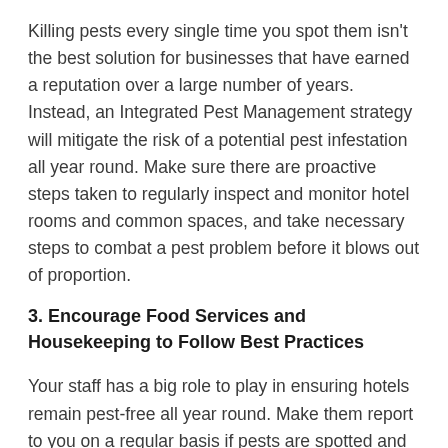Killing pests every single time you spot them isn't the best solution for businesses that have earned a reputation over a large number of years. Instead, an Integrated Pest Management strategy will mitigate the risk of a potential pest infestation all year round. Make sure there are proactive steps taken to regularly inspect and monitor hotel rooms and common spaces, and take necessary steps to combat a pest problem before it blows out of proportion.
3. Encourage Food Services and Housekeeping to Follow Best Practices
Your staff has a big role to play in ensuring hotels remain pest-free all year round. Make them report to you on a regular basis if pests are spotted and eliminate them at the earliest. Even if you have the best exclusion practices in place, it won't mean a thing if your staff is not on a proactive lookout for pests.
Encourage your staff to adopt the best housekeeping and food...